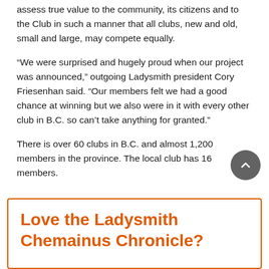assess true value to the community, its citizens and to the Club in such a manner that all clubs, new and old, small and large, may compete equally.
“We were surprised and hugely proud when our project was announced,” outgoing Ladysmith president Cory Friesenhan said. “Our members felt we had a good chance at winning but we also were in it with every other club in B.C. so can’t take anything for granted.”
There is over 60 clubs in B.C. and almost 1,200 members in the province. The local club has 16 members.
Love the Ladysmith Chemainus Chronicle?